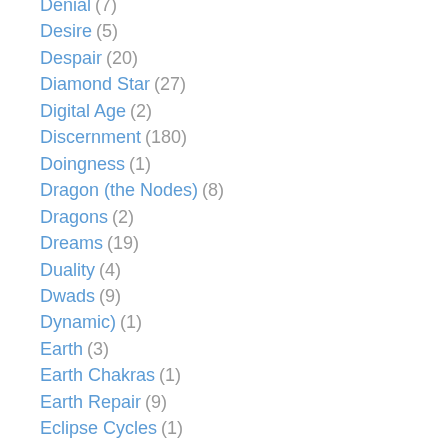Denial (7)
Desire (5)
Despair (20)
Diamond Star (27)
Digital Age (2)
Discernment (180)
Doingness (1)
Dragon (the Nodes) (8)
Dragons (2)
Dreams (19)
Duality (4)
Dwads (9)
Dynamic) (1)
Earth (3)
Earth Chakras (1)
Earth Repair (9)
Eclipse Cycles (1)
Eclipses (27)
Edargorter (1)
Ego Death (111)